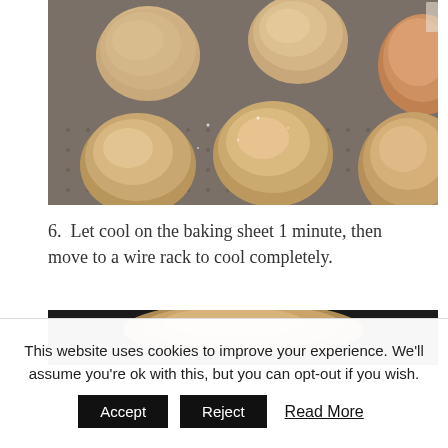[Figure (photo): Cookie dough balls coated in cinnamon sugar arranged on a silicone baking mat/sheet, ready to bake]
6.  Let cool on the baking sheet 1 minute, then move to a wire rack to cool completely.
[Figure (photo): Partial view of a baked cookie on dark background]
This website uses cookies to improve your experience. We'll assume you're ok with this, but you can opt-out if you wish.
Accept   Reject   Read More